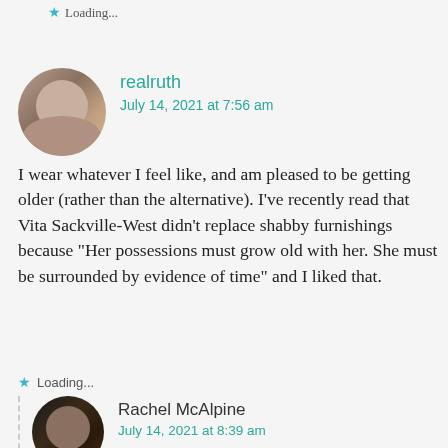★ Loading...
[Figure (photo): Circular avatar photo of an older woman with white/gray hair and glasses, smiling]
realruth
July 14, 2021 at 7:56 am
I wear whatever I feel like, and am pleased to be getting older (rather than the alternative). I've recently read that Vita Sackville-West didn't replace shabby furnishings because "Her possessions must grow old with her. She must be surrounded by evidence of time" and I liked that.
★ Loading...
[Figure (photo): Circular avatar photo of an older woman with light hair and glasses]
Rachel McAlpine
July 14, 2021 at 8:39 am